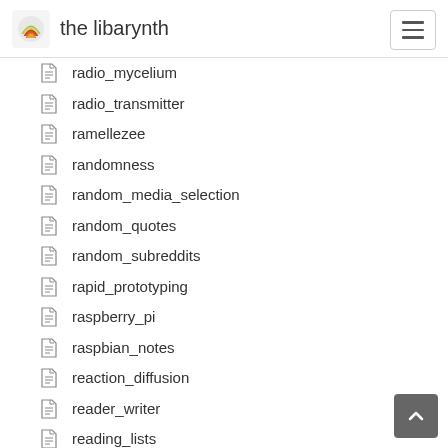the libarynth
radio_mycelium
radio_transmitter
ramellezee
randomness
random_media_selection
random_quotes
random_subreddits
rapid_prototyping
raspberry_pi
raspbian_notes
reaction_diffusion
reader_writer
reading_lists
reading_list_theun
reading_notes
reading_synergetics
reality_generation_exercise
reality_integration_exercise